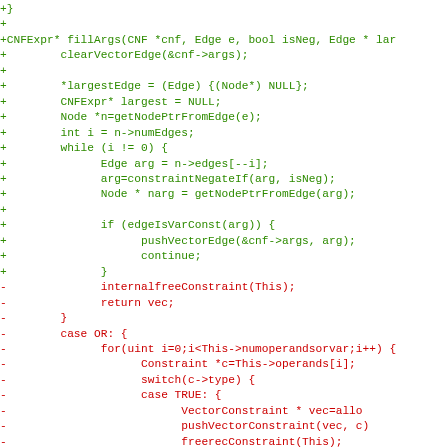[Figure (screenshot): A code diff screenshot showing added lines (green, prefixed with +) and removed lines (red, prefixed with -) in C/C++ source code. Added lines include a function fillArgs with CNFExpr, edge manipulation, and loop logic. Removed lines include internalfreeConstraint, return vec, case OR, for loop, switch/case TRUE with VectorConstraint, pushVectorConstraint, freerecConstraint, return vec, and case FALSE.]